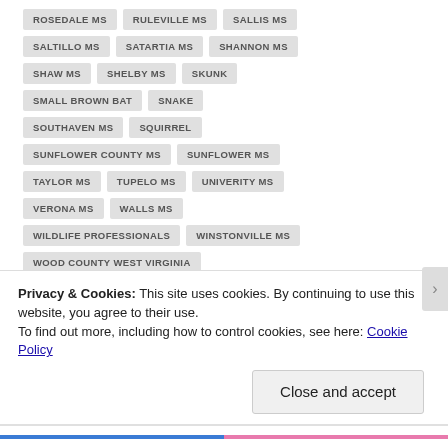ROSEDALE MS
RULEVILLE MS
SALLIS MS
SALTILLO MS
SATARTIA MS
SHANNON MS
SHAW MS
SHELBY MS
SKUNK
SMALL BROWN BAT
SNAKE
SOUTHAVEN MS
SQUIRREL
SUNFLOWER COUNTY MS
SUNFLOWER MS
TAYLOR MS
TUPELO MS
UNIVERITY MS
VERONA MS
WALLS MS
WILDLIFE PROFESSIONALS
WINSTONVILLE MS
WOOD COUNTY WEST VIRGINIA
YAZOO CITY MS
YAZOO COUNTY MS
Privacy & Cookies: This site uses cookies. By continuing to use this website, you agree to their use. To find out more, including how to control cookies, see here: Cookie Policy